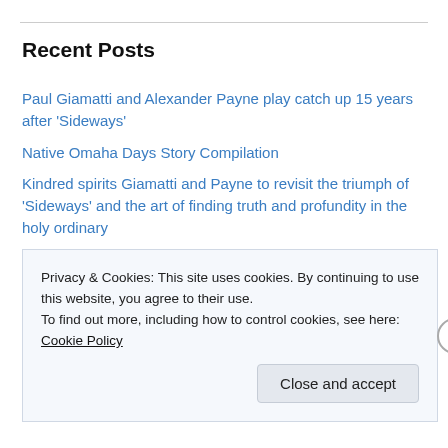Recent Posts
Paul Giamatti and Alexander Payne play catch up 15 years after 'Sideways'
Native Omaha Days Story Compilation
Kindred spirits Giamatti and Payne to revisit the triumph of 'Sideways' and the art of finding truth and profundity in the holy ordinary
Women still calling the shots at the Omaha Star after 81 years
Street prophets and poets depict 'A Day in the Life' of the homeless in new play by Portia Love
Duncans turn passion for art into major collection; In their pursuits, the couple master the art of living
Privacy & Cookies: This site uses cookies. By continuing to use this website, you agree to their use. To find out more, including how to control cookies, see here: Cookie Policy
Close and accept